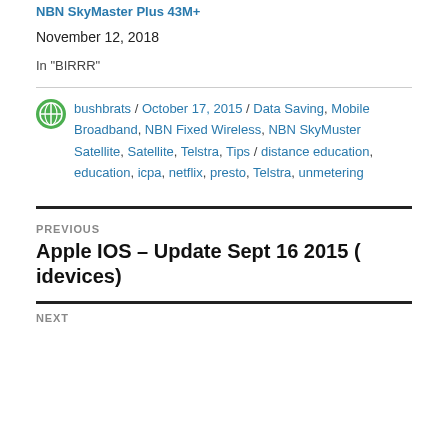NBN SkyMaster Plus 43M+
November 12, 2018
In "BIRRR"
bushbrats / October 17, 2015 / Data Saving, Mobile Broadband, NBN Fixed Wireless, NBN SkyMuster Satellite, Satellite, Telstra, Tips / distance education, education, icpa, netflix, presto, Telstra, unmetering
PREVIOUS
Apple IOS – Update Sept 16 2015 ( idevices)
NEXT